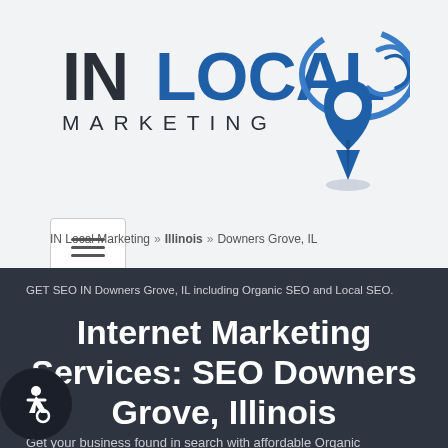[Figure (logo): IN LOCAL MARKETING logo with blue location pin and swirl graphic]
[Figure (other): Hamburger menu toggle button with three horizontal lines]
IN Local Marketing » Illinois » Downers Grove, IL
GET SEO IN Downers Grove, IL including Organic SEO and Local SEO.
Internet Marketing Services: SEO Downers Grove, Illinois
Get your business found in search with affordable Organic